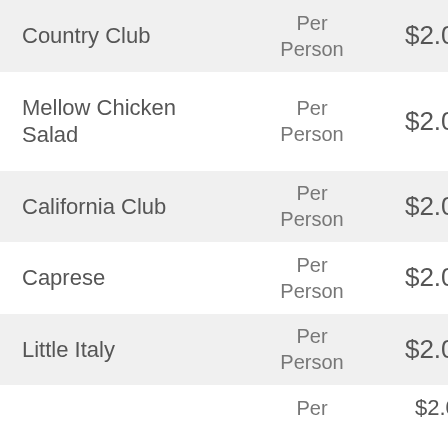| Item | Unit | Price |
| --- | --- | --- |
| Country Club | Per Person | $2.00 |
| Mellow Chicken Salad | Per Person | $2.00 |
| California Club | Per Person | $2.00 |
| Caprese | Per Person | $2.00 |
| Little Italy | Per Person | $2.00 |
| [partial row] | Per | $2.00 |